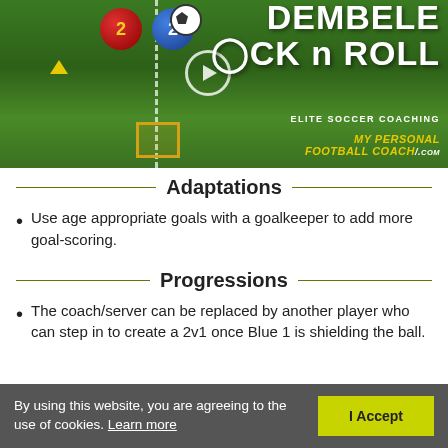[Figure (screenshot): Soccer training drill screenshot showing green field with dashed line, two player markers (red '2' and blue '2'), a soccer ball, play button overlay, and text 'DEMBELE ROCK n ROLL' with 'ELITE SOCCER COACHING' and 'MY PERSONAL FOOTBALL COACH .com' branding on dark background]
Adaptations
Use age appropriate goals with a goalkeeper to add more goal-scoring.
Progressions
The coach/server can be replaced by another player who can step in to create a 2v1 once Blue 1 is shielding the ball.
By using this website, you are agreeing to the use of cookies. Learn more